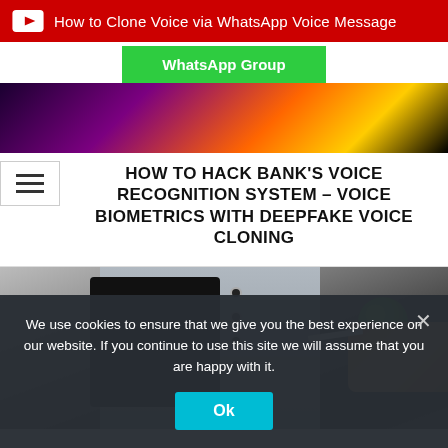[Figure (screenshot): YouTube red banner with play icon and text 'How to Clone Voice via WhatsApp Voice Message']
[Figure (screenshot): Green WhatsApp Group button]
[Figure (photo): Colorful abstract thumbnail image background]
HOW TO HACK BANK'S VOICE RECOGNITION SYSTEM – VOICE BIOMETRICS WITH DEEPFAKE VOICE CLONING
[Figure (photo): Photo of a hand inserting a card into an ATM machine]
We use cookies to ensure that we give you the best experience on our website. If you continue to use this site we will assume that you are happy with it.